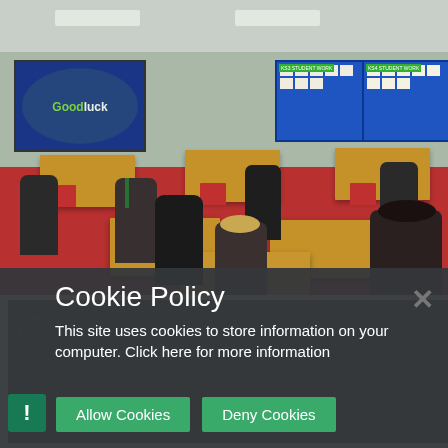[Figure (photo): A classroom photo showing students in school uniforms seated at wooden desks. A large TV screen at the front displays 'Good Luck' in colorful text. Blue bulletin boards with student work are visible on the back wall. A teacher in a suit with green tie is visible among the students.]
Cookie Policy
This site uses cookies to store information on your computer. Click here for more information
Allow Cookies   Deny Cookies